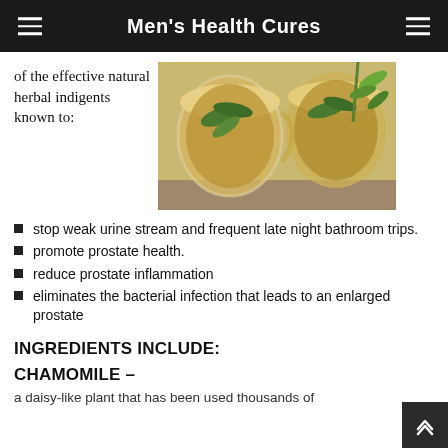Men's Health Cures
of the effective natural herbal indigents known to:
[Figure (photo): Two glass cups of herbal tea with mint leaves and plant sprigs on a wooden surface]
stop weak urine stream and frequent late night bathroom trips.
promote prostate health.
reduce prostate inflammation
eliminates the bacterial infection that leads to an enlarged prostate
INGREDIENTS INCLUDE:
CHAMOMILE –
a daisy-like plant that has been used thousands of